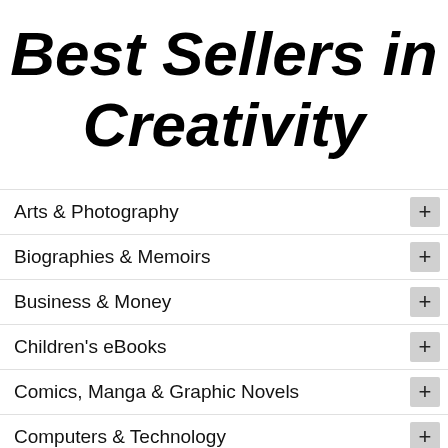Best Sellers in Creativity
Arts & Photography
Biographies & Memoirs
Business & Money
Children's eBooks
Comics, Manga & Graphic Novels
Computers & Technology
Cookbooks, Food & Wine